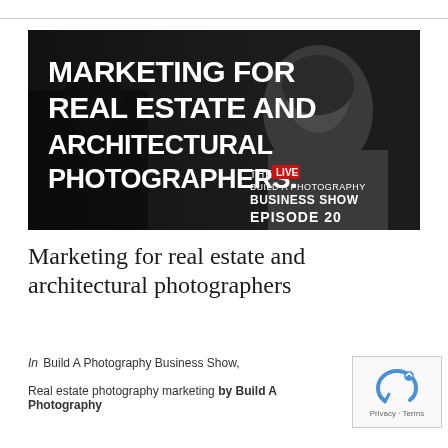[Figure (photo): Dark dramatic black and white photo of a woman being interviewed, with bold white text overlay reading 'MARKETING FOR REAL ESTATE AND ARCHITECTURAL PHOTOGRAPHERS.' and a red 'LIVE' badge with text 'THE LIVE BUILD A PHOTOGRAPHY BUSINESS SHOW EPISODE 20' in the bottom right corner.]
Marketing for real estate and architectural photographers
In Build A Photography Business Show,
Real estate photography marketing by Build A Photography